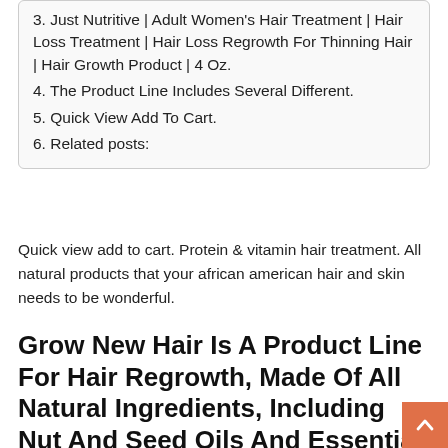3. Just Nutritive | Adult Women’s Hair Treatment | Hair Loss Treatment | Hair Loss Regrowth For Thinning Hair | Hair Growth Product | 4 Oz.
4. The Product Line Includes Several Different.
5. Quick View Add To Cart.
6. Related posts:
Quick view add to cart. Protein & vitamin hair treatment. All natural products that your african american hair and skin needs to be wonderful.
Grow New Hair Is A Product Line For Hair Regrowth, Made Of All Natural Ingredients, Including Nut And Seed Oils And Essential Oils